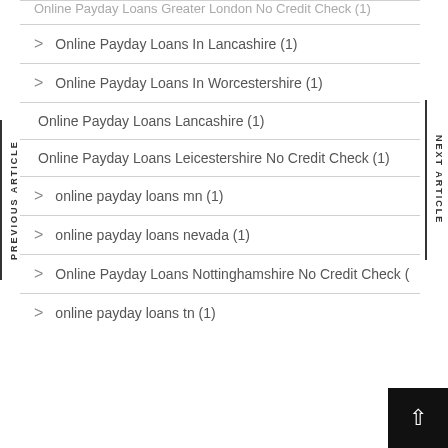Online Payday Loans Greater London No Credit Check (1)
Online Payday Loans In Lancashire (1)
Online Payday Loans In Worcestershire (1)
Online Payday Loans Lancashire (1)
Online Payday Loans Leicestershire No Credit Check (1)
online payday loans mn (1)
online payday loans nevada (1)
Online Payday Loans Nottinghamshire No Credit Check (
online payday loans tn (1)